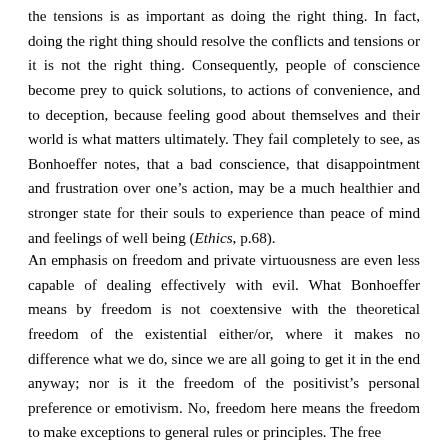the tensions is as important as doing the right thing. In fact, doing the right thing should resolve the conflicts and tensions or it is not the right thing. Consequently, people of conscience become prey to quick solutions, to actions of convenience, and to deception, because feeling good about themselves and their world is what matters ultimately. They fail completely to see, as Bonhoeffer notes, that a bad conscience, that disappointment and frustration over one's action, may be a much healthier and stronger state for their souls to experience than peace of mind and feelings of well being (Ethics, p.68).
An emphasis on freedom and private virtuousness are even less capable of dealing effectively with evil. What Bonhoeffer means by freedom is not coextensive with the theoretical freedom of the existential either/or, where it makes no difference what we do, since we are all going to get it in the end anyway; nor is it the freedom of the positivist's personal preference or emotivism. No, freedom here means the freedom to make exceptions to general rules or principles. The free